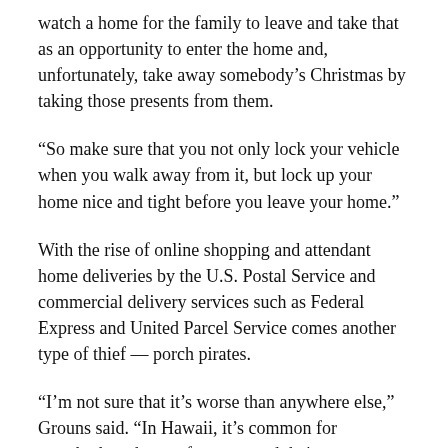watch a home for the family to leave and take that as an opportunity to enter the home and, unfortunately, take away somebody’s Christmas by taking those presents from them.
“So make sure that you not only lock your vehicle when you walk away from it, but lock up your home nice and tight before you leave your home.”
With the rise of online shopping and attendant home deliveries by the U.S. Postal Service and commercial delivery services such as Federal Express and United Parcel Service comes another type of thief — porch pirates.
“I’m not sure that it’s worse than anywhere else,” Grouns said. “In Hawaii, it’s common for somebody to have a fence around their property, so that does defer the criminal from being that porch pirate. But we do see